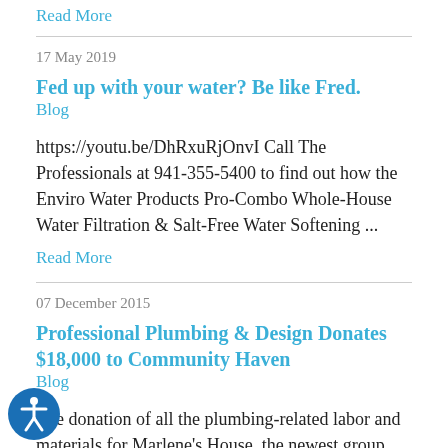Read More
17 May 2019
Fed up with your water? Be like Fred.
Blog
https://youtu.be/DhRxuRjOnvI Call The Professionals at 941-355-5400 to find out how the Enviro Water Products Pro-Combo Whole-House Water Filtration & Salt-Free Water Softening ...
Read More
07 December 2015
Professional Plumbing & Design Donates $18,000 to Community Haven
Blog
The donation of all the plumbing-related labor and materials for Marlene's House, the newest group home on the Community Haven campus, helped make the much-needed housing a reality.